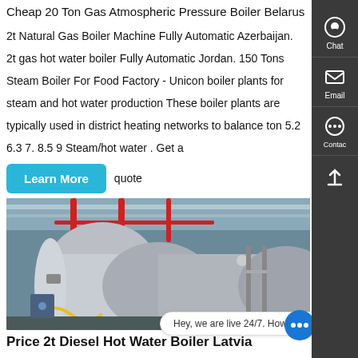Cheap 20 Ton Gas Atmospheric Pressure Boiler Belarus
2t Natural Gas Boiler Machine Fully Automatic Azerbaijan. 2t gas hot water boiler Fully Automatic Jordan. 150 Tons Steam Boiler For Food Factory - Unicon boiler plants for steam and hot water production These boiler plants are typically used in district heating networks to balance ton 5.2 6.3 7. 8.5 9 Steam/hot water . Get a quote
Learn More
[Figure (photo): Industrial gas boiler installation showing large cylindrical stainless steel boilers with red pipes and overhead ductwork in a factory setting]
Contact us now!
Hey, we are live 24/7. How may I help you?
Price 2t Diesel Hot Water Boiler Latvia